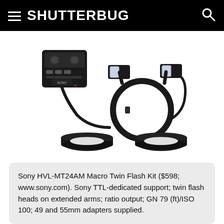SHUTTERBUG
[Figure (photo): Sony HVL-MT24AM Macro Twin Flash Kit product photo showing the flash controller unit, ring adapter with two flash heads on extended arms, and two lens adapter rings, all in black against a white background.]
Sony HVL-MT24AM Macro Twin Flash Kit ($598; www.sony.com). Sony TTL-dedicated support; twin flash heads on extended arms; ratio output; GN 79 (ft)/ISO 100; 49 and 55mm adapters supplied.